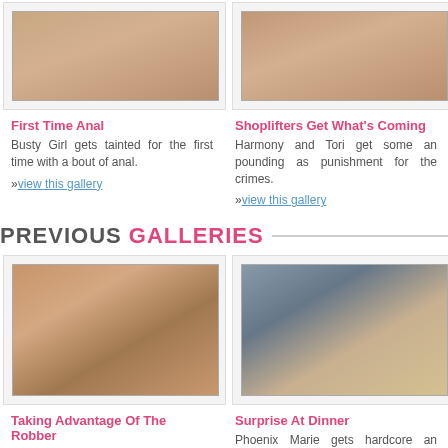First Time Anal
Busty Girl gets tainted for the first time with a bout of anal.
»view this gallery
Shoplifters Get What's Coming
Harmony and Tori get some an pounding as punishment for the crimes.
»view this gallery
PREVIOUS GALLERIES
[Figure (photo): Woman in black fishnet standing over man on pink bed]
Taking Advantage Of The Robber
Missy Stone jumps on the
[Figure (photo): Man in suit bending over blonde woman on couch]
Surprise At Dinner
Phoenix Marie gets hardcore an action after a revealing gift.